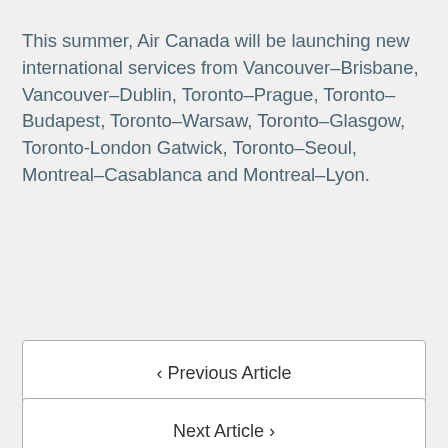This summer, Air Canada will be launching new international services from Vancouver–Brisbane, Vancouver–Dublin, Toronto–Prague, Toronto–Budapest, Toronto–Warsaw, Toronto–Glasgow, Toronto-London Gatwick, Toronto–Seoul, Montreal–Casablanca and Montreal–Lyon.
‹ Previous Article
Next Article ›